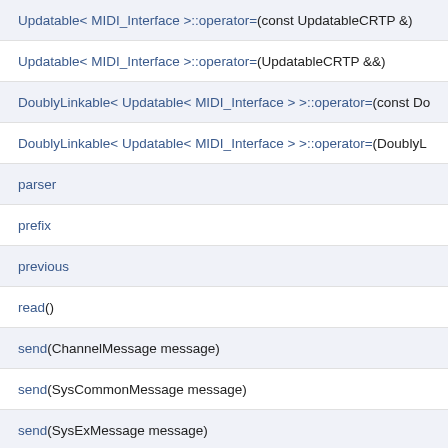Updatable< MIDI_Interface >::operator=(const UpdatableCRTP &)
Updatable< MIDI_Interface >::operator=(UpdatableCRTP &&)
DoublyLinkable< Updatable< MIDI_Interface > >::operator=(const Do…)
DoublyLinkable< Updatable< MIDI_Interface > >::operator=(DoublyL…)
parser
prefix
previous
read()
send(ChannelMessage message)
send(SysCommonMessage message)
send(SysExMessage message)
send(RealTimeMessage message)
sendActiveSensing(Cable cable=CABLE_1)